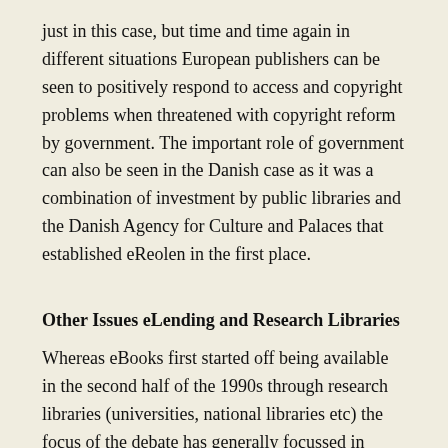just in this case, but time and time again in different situations European publishers can be seen to positively respond to access and copyright problems when threatened with copyright reform by government. The important role of government can also be seen in the Danish case as it was a combination of investment by public libraries and the Danish Agency for Culture and Palaces that established eReolen in the first place.
Other Issues
eLending and Research Libraries
Whereas eBooks first started off being available in the second half of the 1990s through research libraries (universities, national libraries etc) the focus of the debate has generally focussed in Europe on the struggle by public libraries to get access to eBooks. Another important aspect of the eBook “problem” however is one